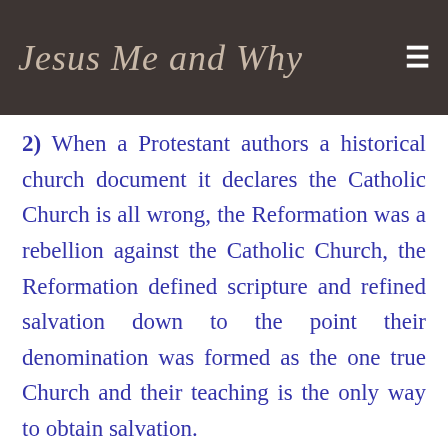Jesus Me and Why
2) When a Protestant authors a historical church document it declares the Catholic Church is all wrong, the Reformation was a rebellion against the Catholic Church, the Reformation defined scripture and refined salvation down to the point their denomination was formed as the one true Church and their teaching is the only way to obtain salvation.
3) When an atheist, agnostic, Wicca (witchcraft/witch) and etc. writes a historical